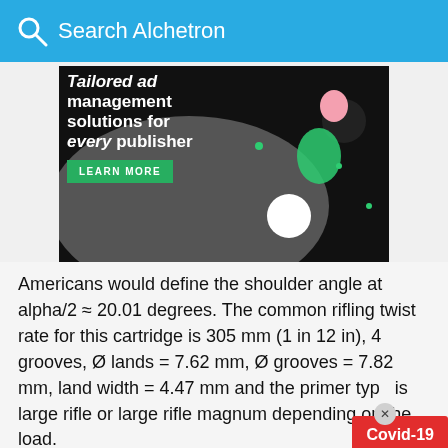Search Alchetron
[Figure (illustration): Advertisement banner showing 'Tailored ad management solutions for every publisher' with a LEARN MORE button on dark background with illustrated character]
Americans would define the shoulder angle at alpha/2 ≈ 20.01 degrees. The common rifling twist rate for this cartridge is 305 mm (1 in 12 in), 4 grooves, Ø lands = 7.62 mm, Ø grooves = 7.82 mm, land width = 4.47 mm and the primer type is large rifle or large rifle magnum depending on the load.